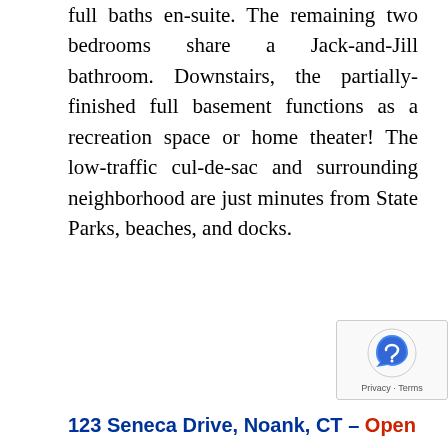full baths en-suite. The remaining two bedrooms share a Jack-and-Jill bathroom. Downstairs, the partially-finished full basement functions as a recreation space or home theater! The low-traffic cul-de-sac and surrounding neighborhood are just minutes from State Parks, beaches, and docks.
123 Seneca Drive, Noank, CT – Open House: Saturday,